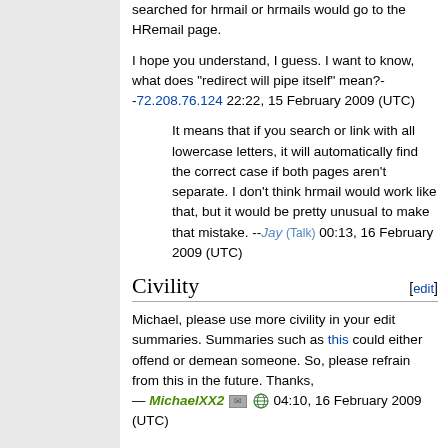searched for hrmail or hrmails would go to the HRemail page.
I hope you understand, I guess. I want to know, what does "redirect will pipe itself" mean?--72.208.76.124 22:22, 15 February 2009 (UTC)
It means that if you search or link with all lowercase letters, it will automatically find the correct case if both pages aren't separate. I don't think hrmail would work like that, but it would be pretty unusual to make that mistake. --Jay (Talk) 00:13, 16 February 2009 (UTC)
Civility
Michael, please use more civility in your edit summaries. Summaries such as this could either offend or demean someone. So, please refrain from this in the future. Thanks, — MichaelXX2 04:10, 16 February 2009 (UTC)